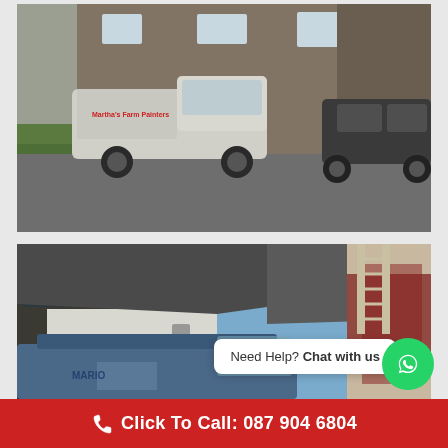[Figure (photo): A white pickup truck with business branding parked on a cobblestone driveway in front of a brick house. A dark SUV is also visible parked to the right. Green lawn is visible on the left side.]
[Figure (photo): A blue van parked in front of a white rendered house with dark timber features. A ladder leans against the roof. Red ivy covers part of the wall. A WhatsApp chat widget is overlaid on the image.]
Need Help? Chat with us
Click To Call: 087 904 6804